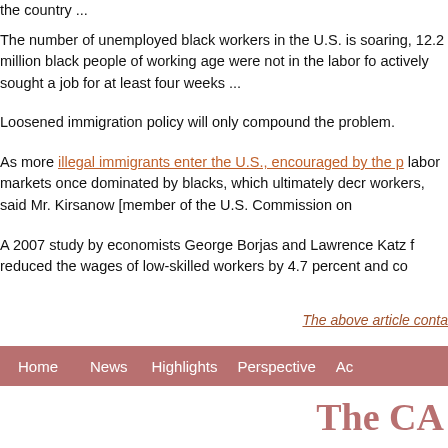the country ...
The number of unemployed black workers in the U.S. is soaring, 12.2 million black people of working age were not in the labor force actively sought a job for at least four weeks ...
Loosened immigration policy will only compound the problem.
As more illegal immigrants enter the U.S., encouraged by the p... labor markets once dominated by blacks, which ultimately decr... workers, said Mr. Kirsanow [member of the U.S. Commission on...
A 2007 study by economists George Borjas and Lawrence Katz f... reduced the wages of low-skilled workers by 4.7 percent and co...
The above article conta...
Home   News   Highlights   Perspective   Ac...
The CA